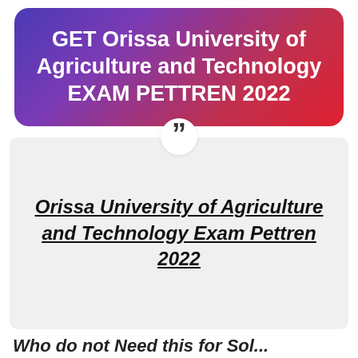GET Orissa University of Agriculture and Technology EXAM PETTREN 2022
Orissa University of Agriculture and Technology Exam Pettren 2022
Who do not Need this for Sol...